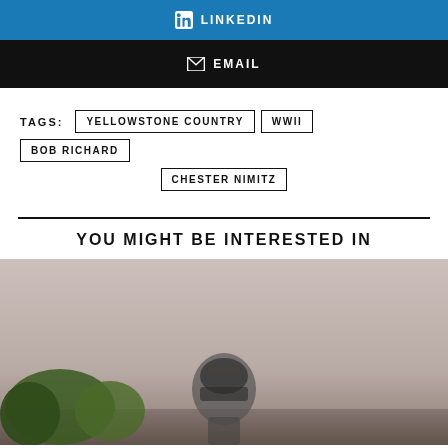LINKEDIN
EMAIL
TAGS: YELLOWSTONE COUNTRY  WWII  BOB RICHARD  CHESTER NIMITZ
YOU MIGHT BE INTERESTED IN
[Figure (photo): Outdoor photograph showing a landscape with trees and a figure/statue silhouette against a light sky]